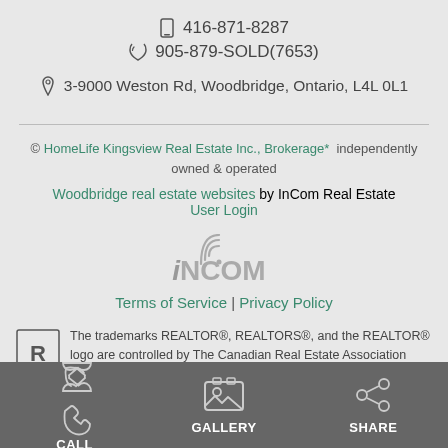📱 416-871-8287
📞 905-879-SOLD(7653)
📍 3-9000 Weston Rd, Woodbridge, Ontario, L4L 0L1
© HomeLife Kingsview Real Estate Inc., Brokerage* independently owned & operated
Woodbridge real estate websites by InCom Real Estate User Login
[Figure (logo): iNCOM logo in gray text with wifi signal icon above the i]
Terms of Service | Privacy Policy
The trademarks REALTOR®, REALTORS®, and the REALTOR® logo are controlled by The Canadian Real Estate Association (CREA) and identify real estate professionals who are members of CREA.
CALL
GALLERY
SHARE